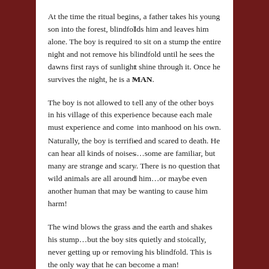At the time the ritual begins, a father takes his young son into the forest, blindfolds him and leaves him alone. The boy is required to sit on a stump the entire night and not remove his blindfold until he sees the dawns first rays of sunlight shine through it. Once he survives the night, he is a MAN.
The boy is not allowed to tell any of the other boys in his village of this experience because each male must experience and come into manhood on his own. Naturally, the boy is terrified and scared to death. He can hear all kinds of noises…some are familiar, but many are strange and scary. There is no question that wild animals are all around him…or maybe even another human that may be wanting to cause him harm!
The wind blows the grass and the earth and shakes his stump…but the boy sits quietly and stoically, never getting up or removing his blindfold. This is the only way that he can become a man!